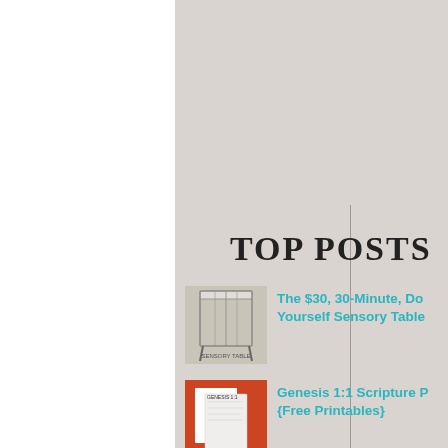[Figure (screenshot): Subscribe button UI element with gray gradient background]
TOP POSTS
[Figure (photo): Thumbnail of a DIY sensory table (clear plastic bin with grid top)]
The $30, 30-Minute, Do Yourself Sensory Table
[Figure (photo): Thumbnail of Genesis 1:1 scripture printable worksheet]
Genesis 1:1 Scripture P {Free Printables}
[Figure (photo): Thumbnail of St. Patrick's Day Kindergarten lesson plan worksheet]
St. Patrick's Day Kindergarten Lesson Plan
[Figure (photo): Thumbnail of Water Cycle worksheet]
The Water Cycle {FREE